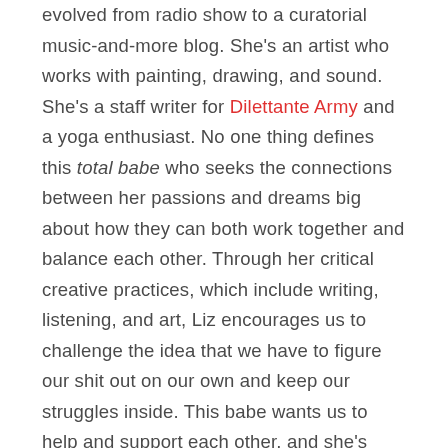evolved from radio show to a curatorial music-and-more blog. She's an artist who works with painting, drawing, and sound. She's a staff writer for Dilettante Army and a yoga enthusiast. No one thing defines this total babe who seeks the connections between her passions and dreams big about how they can both work together and balance each other. Through her critical creative practices, which include writing, listening, and art, Liz encourages us to challenge the idea that we have to figure our shit out on our own and keep our struggles inside. This babe wants us to help and support each other, and she's down to be the one to start that trend.
Join us as we talk about how to balance critical thinking with l-i-v-i-n, her definition of and